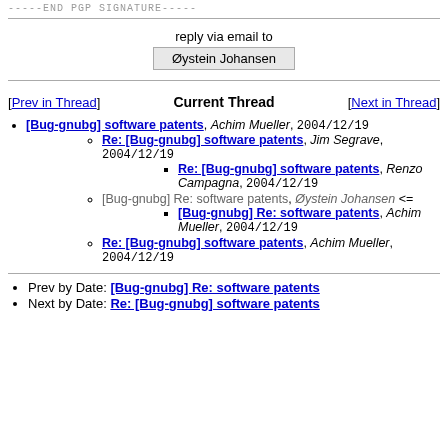-----END PGP SIGNATURE-----
reply via email to
Øystein Johansen
[Bug-gnubg] software patents, Achim Mueller, 2004/12/19
Re: [Bug-gnubg] software patents, Jim Segrave, 2004/12/19
Re: [Bug-gnubg] software patents, Renzo Campagna, 2004/12/19
[Bug-gnubg] Re: software patents, Øystein Johansen <=
[Bug-gnubg] Re: software patents, Achim Mueller, 2004/12/19
Re: [Bug-gnubg] software patents, Achim Mueller, 2004/12/19
Prev by Date: [Bug-gnubg] Re: software patents
Next by Date: Re: [Bug-gnubg] software patents